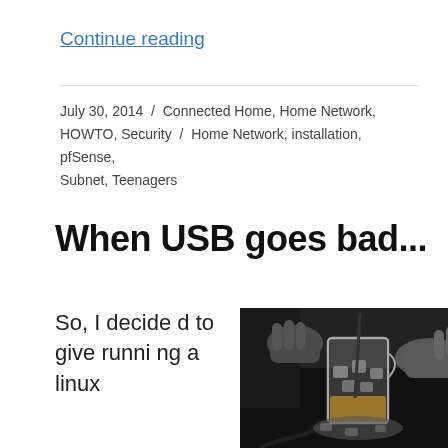Continue reading
July 30, 2014 / Connected Home, Home Network, HOWTO, Security / Home Network, installation, pfSense, Subnet, Teenagers
When USB goes bad...
So, I decided to give running a linux
[Figure (photo): Black and white photo of hands stirring a drink in a glass pitcher with ice and amber liquid, with a black hose/straw, on a bed of ice.]